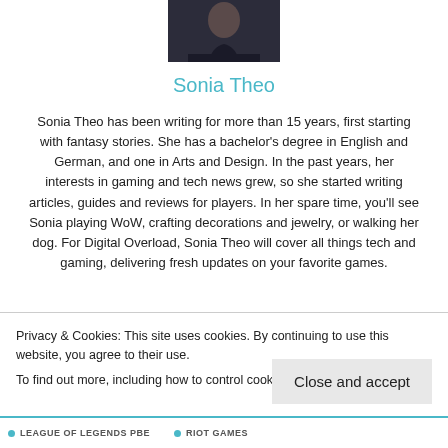[Figure (photo): Headshot photo of Sonia Theo, a woman with dark hair wearing a black top]
Sonia Theo
Sonia Theo has been writing for more than 15 years, first starting with fantasy stories. She has a bachelor's degree in English and German, and one in Arts and Design. In the past years, her interests in gaming and tech news grew, so she started writing articles, guides and reviews for players. In her spare time, you'll see Sonia playing WoW, crafting decorations and jewelry, or walking her dog. For Digital Overload, Sonia Theo will cover all things tech and gaming, delivering fresh updates on your favorite games.
Privacy & Cookies: This site uses cookies. By continuing to use this website, you agree to their use.
To find out more, including how to control cookies, see here: Cookie Policy
Close and accept
LEAGUE OF LEGENDS PBE   RIOT GAMES